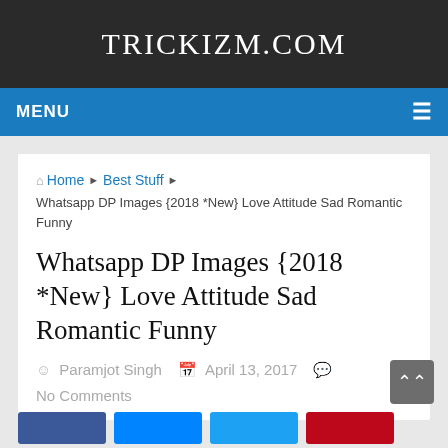TRICKIZM.COM
MENU
Home › Best Stuff › Whatsapp DP Images {2018 *New} Love Attitude Sad Romantic Funny
Whatsapp DP Images {2018 *New} Love Attitude Sad Romantic Funny
Paramjot Singh   April 13, 2017   No Comments